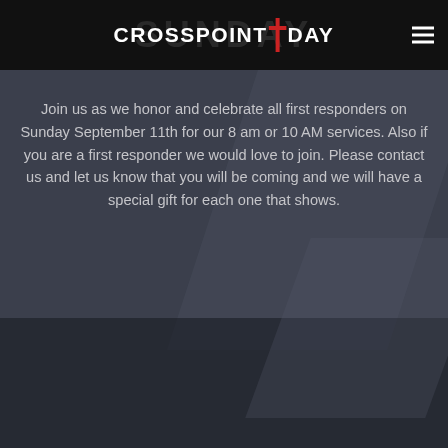CROSSPOINT SUNDAY
Join us as we honor and celebrate all first responders on Sunday September 11th for our 8 am or 10 AM services. Also if you are a first responder we would love to join. Please contact us and let us know that you will be coming and we will have a special gift for each one that shows.